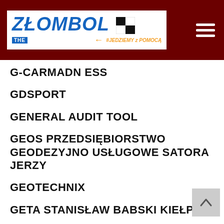ZŁOMBOL THE CHARITY RALLY #JEDZIEMY z POMOCĄ
G-CARMADN ESS
GDSPORT
GENERAL AUDIT TOOL
GEOS PRZEDSIĘBIORSTWO GEODEZYJNO USŁUGOWE SATORA JERZY
GEOTECHNIX
GETA STANISŁAW BABSKI KIEŁPIN
GĘBICKI ANDRZEJ P.H.U. MAARTEN
GIEMZA ARTUR I SYLWIA
GIEMZA JAN I ZENONA